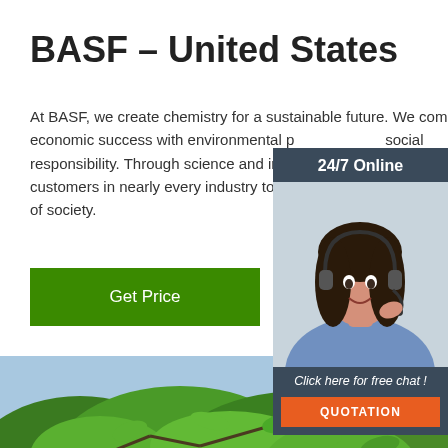BASF – United States
At BASF, we create chemistry for a sustainable future. We combine economic success with environmental protection and social responsibility. Through science and innovation, we enable our customers in nearly every industry to meet the current and future needs of society.
[Figure (screenshot): Green 'Get Price' button]
[Figure (photo): 24/7 Online chat widget with female agent wearing headset, with 'Click here for free chat!' text and orange QUOTATION button]
[Figure (photo): Green tropical leaves background photo with 'TOP' badge overlay]